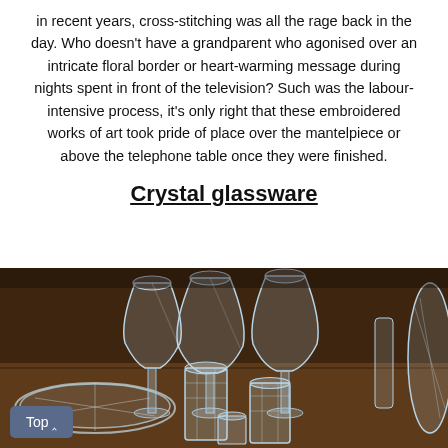in recent years, cross-stitching was all the rage back in the day. Who doesn't have a grandparent who agonised over an intricate floral border or heart-warming message during nights spent in front of the television? Such was the labour-intensive process, it's only right that these embroidered works of art took pride of place over the mantelpiece or above the telephone table once they were finished.
Crystal glassware
[Figure (photo): Photograph of crystal glassware including wine glasses and tumblers with cut-glass patterns arranged on a wooden surface, with a wooden cabinet in the background.]
Top ^